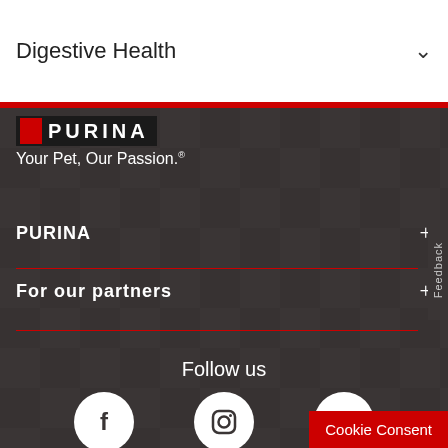Digestive Health
[Figure (logo): Purina logo with red block and white text on dark background]
Your Pet, Our Passion.
PURINA
For our partners
Follow us
[Figure (infographic): Three social media icons: Facebook, Instagram, YouTube]
Cookie Consent